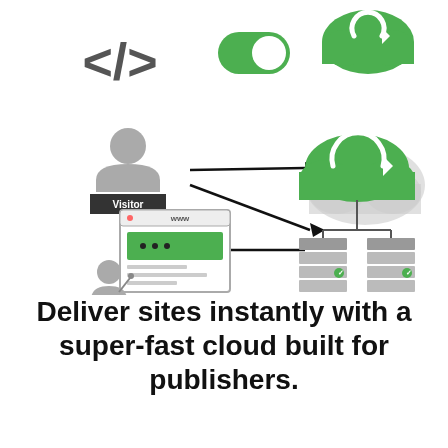[Figure (infographic): Infographic showing: top row has code tag icon '</>', green toggle switch icon, green cloud with a circular arrow icon. Middle section shows a Visitor person icon with arrow pointing right to a green CDN cloud with server nodes below. A website/browser icon with WWW label at bottom left with arrow pointing left from the CDN cloud.]
Deliver sites instantly with a super-fast cloud built for publishers.